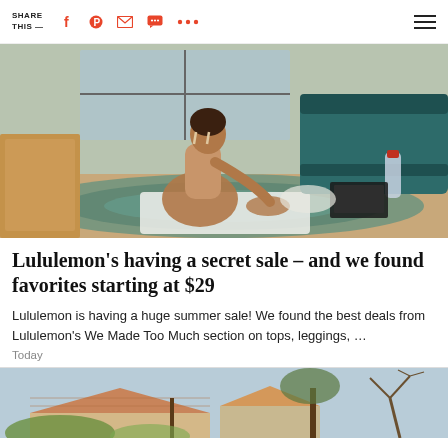SHARE THIS —
[Figure (photo): Woman in athletic wear stretching on a yoga mat in a living room, sitting on the floor reaching toward her feet, with a teal couch, patterned rug, water bottle, and laptop in the background.]
Lululemon's having a secret sale – and we found favorites starting at $29
Lululemon is having a huge summer sale! We found the best deals from Lululemon's We Made Too Much section on tops, leggings, …
Today
[Figure (photo): Exterior of a house with a tiled roof and bare tree branches visible against a blue sky, with green bushes and another building partially visible.]